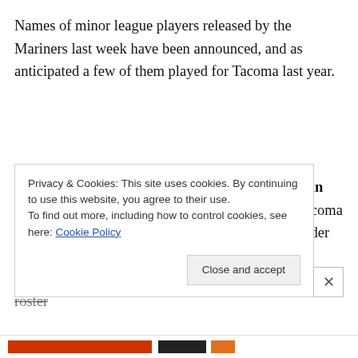Names of minor league players released by the Mariners last week have been announced, and as anticipated a few of them played for Tacoma last year.
Chris Mariscal joins the previously reported Darin Gillies as the two regular members of the 2019 Tacoma Rainiers to be let go by the organization. An infielder by trade, Mariscal was hoping to make the 2020 opening day roster
Privacy & Cookies: This site uses cookies. By continuing to use this website, you agree to their use.
To find out more, including how to control cookies, see here: Cookie Policy
Close and accept